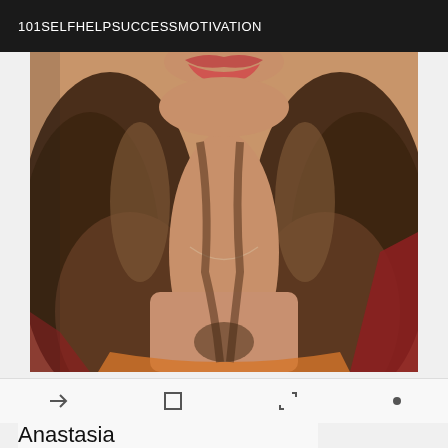101SELFHELPSUCCESSMOTIVATION
[Figure (photo): Close-up photo of a woman with brown wavy hair, showing her face from lips down to chest, wearing what appears to be a red and orange outfit. The photo is cropped to show mainly her neck, hair, and lower face including lips with red lipstick.]
Anastasia